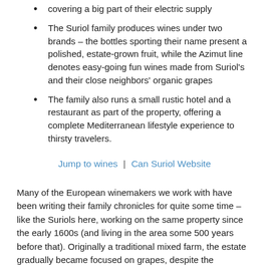covering a big part of their electric supply
The Suriol family produces wines under two brands – the bottles sporting their name present a polished, estate-grown fruit, while the Azimut line denotes easy-going fun wines made from Suriol's and their close neighbors' organic grapes
The family also runs a small rustic hotel and a restaurant as part of the property, offering a complete Mediterranean lifestyle experience to thirsty travelers.
Jump to wines | Can Suriol Website
Many of the European winemakers we work with have been writing their family chronicles for quite some time – like the Suriols here, working on the same property since the early 1600s (and living in the area some 500 years before that). Originally a traditional mixed farm, the estate gradually became focused on grapes, despite the catastrophic arrival of phylloxera an aphid that nearly devastated vineyards in Europe at the time, including